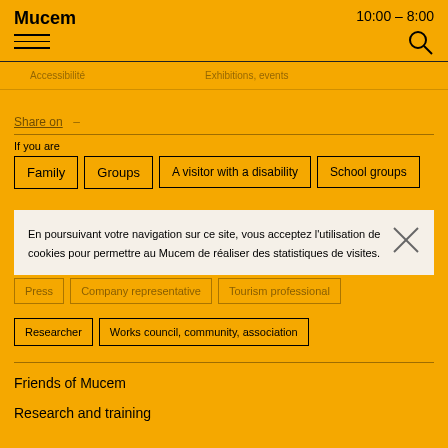Mucem   10:00 – 8:00
Accessibilité   Exhibitions, events
Share on –
If you are
Family
Groups
A visitor with a disability
School groups
En poursuivant votre navigation sur ce site, vous acceptez l'utilisation de cookies pour permettre au Mucem de réaliser des statistiques de visites.
Students
Professionals
Press
Company representative
Tourism professional
Researcher
Works council, community, association
Friends of Mucem
Research and training